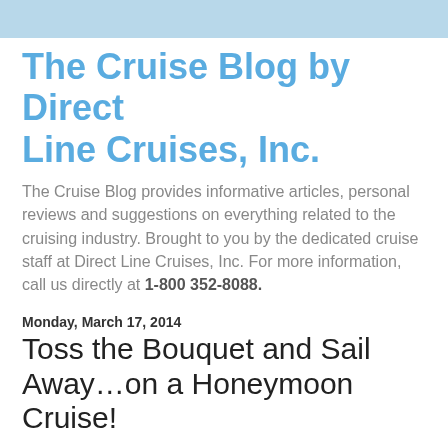The Cruise Blog by Direct Line Cruises, Inc.
The Cruise Blog provides informative articles, personal reviews and suggestions on everything related to the cruising industry. Brought to you by the dedicated cruise staff at Direct Line Cruises, Inc. For more information, call us directly at 1-800 352-8088.
Monday, March 17, 2014
Toss the Bouquet and Sail Away…on a Honeymoon Cruise!
A honeymoon, without a doubt, is the most important trip you will ever plan.  It goes without saying that it must be magically romantic; a place where every wish is granted! It should give you the opportunity to spend quality time along the ba...